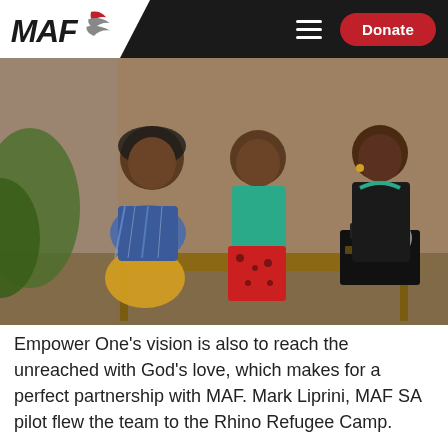MAF — Donate
[Figure (photo): Three African women outdoors near a mud wall. Two women sit on a wooden table/bench, one wearing a blue patterned dress and yellow fabric skirt, the other in a teal top and red patterned pants. A third woman sits to the right operating an antique black sewing machine, wearing a dark jacket with a green measuring tape around her neck.]
Empower One's vision is also to reach the unreached with God's love, which makes for a perfect partnership with MAF. Mark Liprini, MAF SA pilot flew the team to the Rhino Refugee Camp.